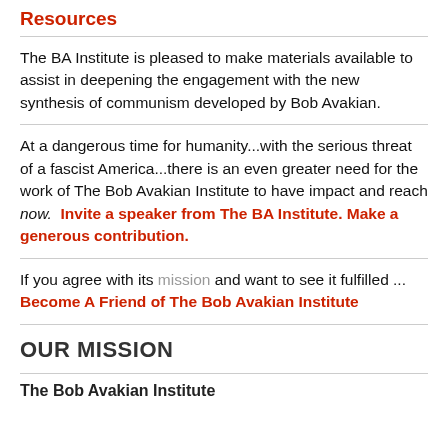Resources
The BA Institute is pleased to make materials available to assist in deepening the engagement with the new synthesis of communism developed by Bob Avakian.
At a dangerous time for humanity...with the serious threat of a fascist America...there is an even greater need for the work of The Bob Avakian Institute to have impact and reach now. Invite a speaker from The BA Institute. Make a generous contribution.
If you agree with its mission and want to see it fulfilled ... Become A Friend of The Bob Avakian Institute
OUR MISSION
The Bob Avakian Institute